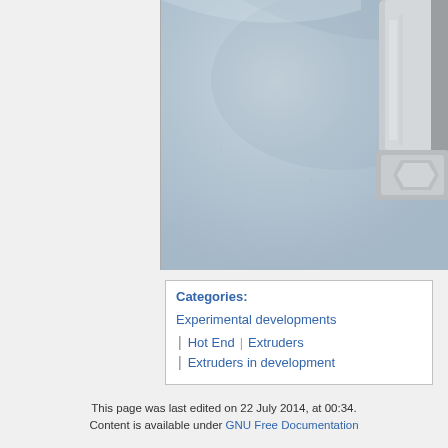[Figure (photo): Close-up photograph of a metallic extruder or hot end component on a light blue-grey surface, showing metal fitting/nozzle in upper right corner]
Categories:
Experimental developments
Hot End | Extruders
Extruders in development
This page was last edited on 22 July 2014, at 00:34.
Content is available under GNU Free Documentation